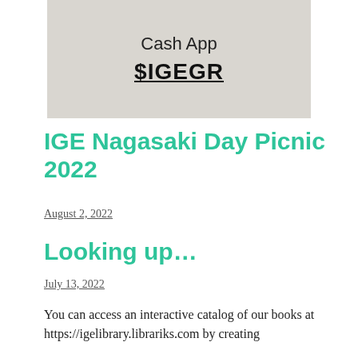[Figure (photo): A photo/sign showing 'Cash App $IGEGR' text on a white background with bold underlined $IGEGR]
IGE Nagasaki Day Picnic 2022
August 2, 2022
Looking up…
July 13, 2022
You can access an interactive catalog of our books at https://igelibrary.librariks.com by creating